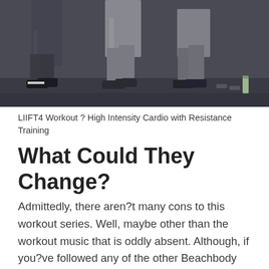[Figure (photo): Three people exercising in a gym setting, showing lower bodies with athletic wear and sneakers. Dumbbells and a water bottle visible on the floor in the background.]
LIIFT4 Workout ? High Intensity Cardio with Resistance Training
What Could They Change?
Admittedly, there aren?t many cons to this workout series. Well, maybe other than the workout music that is oddly absent. Although, if you?ve followed any of the other Beachbody workouts, the music is lousy in most cases. A music toggle button on the workout videos would be a nice convenience.
I almost overlooked this one, but I mentioned a